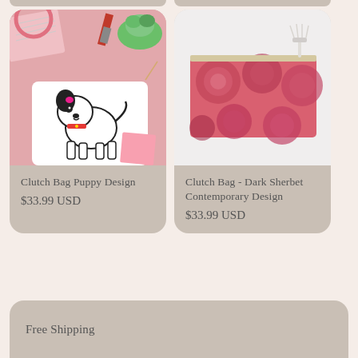[Figure (photo): Clutch bag with puppy French Bulldog design on a pink background with cosmetics and accessories]
Clutch Bag Puppy Design
$33.99 USD
[Figure (photo): Clutch bag with dark sherbet contemporary rose design on light background]
Clutch Bag - Dark Sherbet Contemporary Design
$33.99 USD
Free Shipping